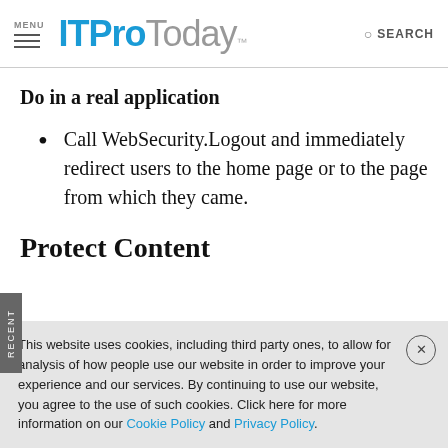MENU  ITProToday  SEARCH
Do in a real application
Call WebSecurity.Logout and immediately redirect users to the home page or to the page from which they came.
Protect Content
This website uses cookies, including third party ones, to allow for analysis of how people use our website in order to improve your experience and our services. By continuing to use our website, you agree to the use of such cookies. Click here for more information on our Cookie Policy and Privacy Policy.